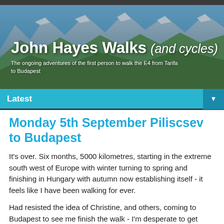[Figure (photo): Mountain landscape banner with alpine scenery showing green hills, rocky peaks and blue sky]
John Hayes Walks (and cycles)
The ongoing adventures of the first person to walk the E4 from Tarifa to Budapest
Latest ▼
Monday 5th September Piliscsev to Budapest
It's over. Six months, 5000 kilometres, starting in the extreme south west of Europe with winter turning to spring and finishing in Hungary with autumn now establishing itself - it feels like I have been walking for ever.
Had resisted the idea of Christine, and others, coming to Budapest to see me finish the walk - I'm desperate to get home and didn't want anything to hold that up. Of course that meant that the final day could have been a "damp...